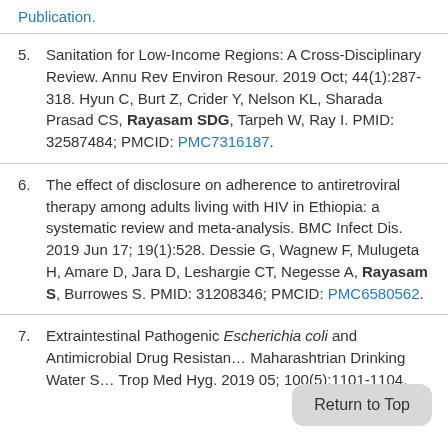Publication.
5. Sanitation for Low-Income Regions: A Cross-Disciplinary Review. Annu Rev Environ Resour. 2019 Oct; 44(1):287-318. Hyun C, Burt Z, Crider Y, Nelson KL, Sharada Prasad CS, Rayasam SDG, Tarpeh W, Ray I. PMID: 32587484; PMCID: PMC7316187.
6. The effect of disclosure on adherence to antiretroviral therapy among adults living with HIV in Ethiopia: a systematic review and meta-analysis. BMC Infect Dis. 2019 Jun 17; 19(1):528. Dessie G, Wagnew F, Mulugeta H, Amare D, Jara D, Leshargie CT, Negesse A, Rayasam S, Burrowes S. PMID: 31208346; PMCID: PMC6580562.
7. Extraintestinal Pathogenic Escherichia coli and Antimicrobial Drug Resistance in Maharashtrian Drinking Water S... Trop Med Hyg. 2019 05; 100(5):1101-1104.